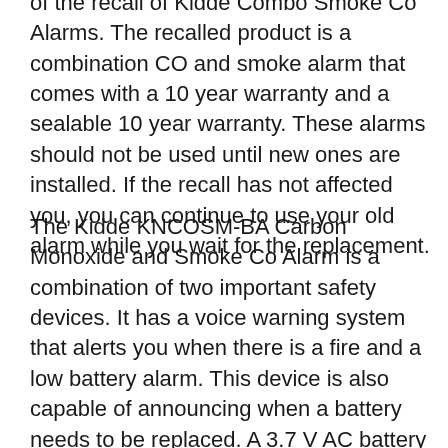of the recall of Kidde Combo Smoke Co Alarms. The recalled product is a combination CO and smoke alarm that comes with a 10 year warranty and a sealable 10 year warranty. These alarms should not be used until new ones are installed. If the recall has not affected you, you can continue to use your old alarm while you wait for the replacement.
The Kidde KNCOSM-BA Carbon Monoxide and Smoke Co Alarm is a combination of two important safety devices. It has a voice warning system that alerts you when there is a fire and a low battery alarm. This device is also capable of announcing when a battery needs to be replaced. A 3.7 V AC battery backup is included for added safety.